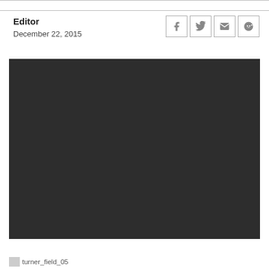Editor
December 22, 2015
[Figure (illustration): Dark background pattern image filled with repeating video/chat bubble play button icons arranged in a grid]
turner_field_05